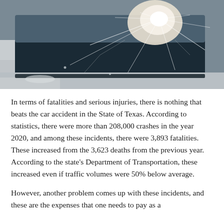[Figure (photo): Close-up photograph of a severely shattered car windshield, showing a large impact point with radiating crack patterns. The car appears to be white/silver.]
In terms of fatalities and serious injuries, there is nothing that beats the car accident in the State of Texas. According to statistics, there were more than 208,000 crashes in the year 2020, and among these incidents, there were 3,893 fatalities. These increased from the 3,623 deaths from the previous year. According to the state's Department of Transportation, these increased even if traffic volumes were 50% below average.
However, another problem comes up with these incidents, and these are the expenses that one needs to pay as a